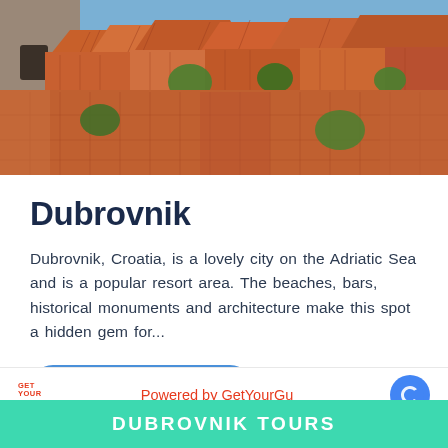[Figure (photo): Aerial view of Dubrovnik, Croatia, showing terracotta rooftops, stone walls, and lush green trees in the old town]
Dubrovnik
Dubrovnik, Croatia, is a lovely city on the Adriatic Sea and is a popular resort area. The beaches, bars, historical monuments and architecture make this spot a hidden gem for...
Find Things to Do
GET YOUR GUIDE  Powered by GetYourGui...
DUBROVNIK TOURS